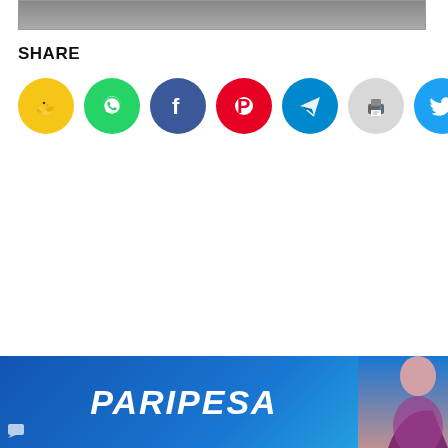[Figure (other): Top partial image bar (cropped image)]
SHARE
[Figure (infographic): Row of 7 social share icon circles: yellow bird (Coda/Koo), green WhatsApp, dark blue Facebook, red Pinterest, cyan Telegram, gray Print, cyan Twitter]
[Figure (other): Paripesa advertisement banner at bottom with blue background, italic white PARIPESA logo text, and partial image of woman on right side]